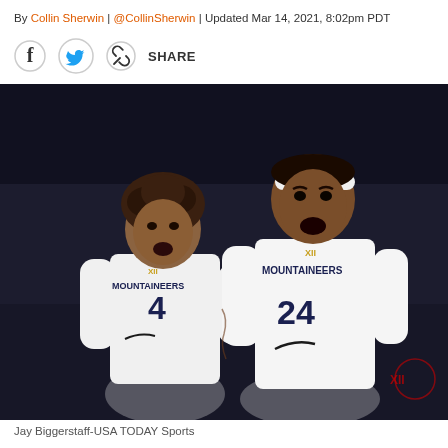By Collin Sherwin | @CollinSherwin | Updated Mar 14, 2021, 8:02pm PDT
[Figure (other): Share bar with Facebook, Twitter, and link share icons followed by the word SHARE]
[Figure (photo): Two West Virginia Mountaineers basketball players in white uniforms — player #4 and player #24 — both reacting with open mouths on a dark court background.]
Jay Biggerstaff-USA TODAY Sports